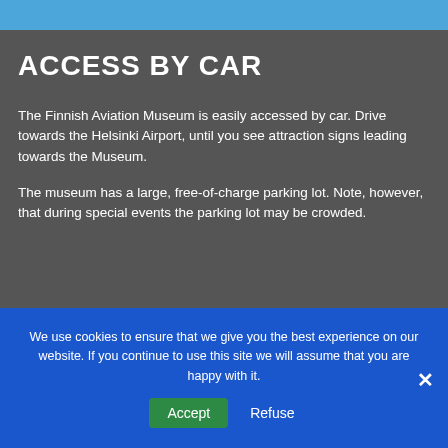ACCESS BY CAR
The Finnish Aviation Museum is easily accessed by car. Drive towards the Helsinki Airport, until you see attraction signs leading towards the Museum.
The museum has a large, free-of-charge parking lot. Note, however, that during special events the parking lot may be crowded.
We use cookies to ensure that we give you the best experience on our website. If you continue to use this site we will assume that you are happy with it.
Accept
Refuse